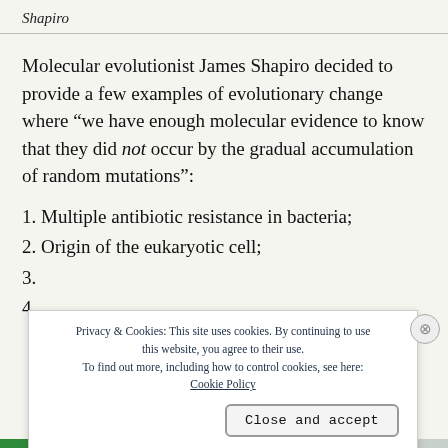Shapiro
Molecular evolutionist James Shapiro decided to provide a few examples of evolutionary change where “we have enough molecular evidence to know that they did not occur by the gradual accumulation of random mutations”:
1. Multiple antibiotic resistance in bacteria;
2. Origin of the eukaryotic cell;
3.
4.
Privacy & Cookies: This site uses cookies. By continuing to use this website, you agree to their use. To find out more, including how to control cookies, see here: Cookie Policy
Close and accept